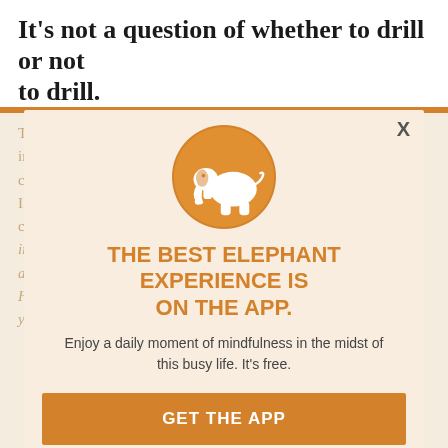It’s not a question of whether to drill or not to drill.
[Figure (illustration): App promotion modal with orange elephant logo circle, headline, subtext, and two buttons on a faded tan background with ghost article text]
THE BEST ELEPHANT EXPERIENCE IS ON THE APP.
Enjoy a daily moment of mindfulness in the midst of this busy life. It’s free.
GET THE APP
OPEN IN APP